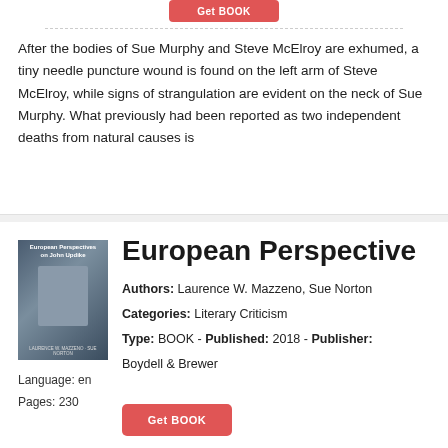Get BOOK
After the bodies of Sue Murphy and Steve McElroy are exhumed, a tiny needle puncture wound is found on the left arm of Steve McElroy, while signs of strangulation are evident on the neck of Sue Murphy. What previously had been reported as two independent deaths from natural causes is
[Figure (illustration): Book cover of 'European Perspectives on John Updike' showing a man in a suit against an architectural background]
European Perspective
Language: en
Pages: 230
Authors: Laurence W. Mazzeno, Sue Norton
Categories: Literary Criticism
Type: BOOK - Published: 2018 - Publisher: Boydell & Brewer
Get BOOK